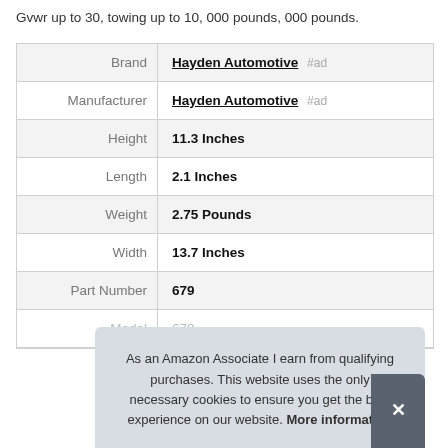Gvwr up to 30, towing up to 10, 000 pounds, 000 pounds.
| Brand | Hayden Automotive #ad |
| Manufacturer | Hayden Automotive #ad |
| Height | 11.3 Inches |
| Length | 2.1 Inches |
| Weight | 2.75 Pounds |
| Width | 13.7 Inches |
| Part Number | 679 |
| Model | 679 |
As an Amazon Associate I earn from qualifying purchases. This website uses the only necessary cookies to ensure you get the best experience on our website. More information